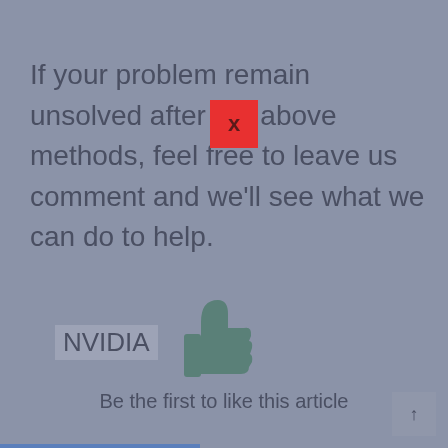If your problem remain unsolved after the above methods, feel free to leave us comment and we'll see what we can do to help.
NVIDIA
[Figure (illustration): A thumbs-up (like) icon in teal/muted green color]
Be the first to like this article